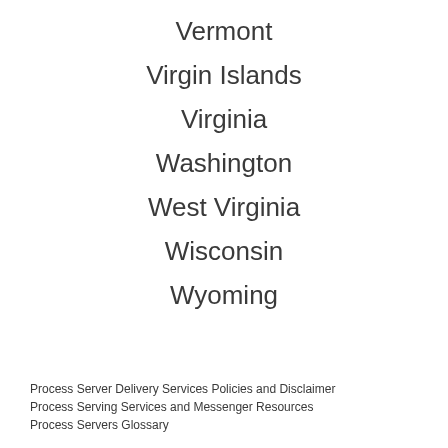Vermont
Virgin Islands
Virginia
Washington
West Virginia
Wisconsin
Wyoming
Process Server Delivery Services Policies and Disclaimer
Process Serving Services and Messenger Resources
Process Servers Glossary